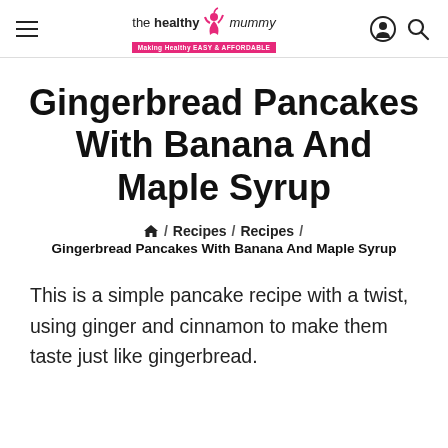the healthy mummy — Making Healthy EASY & AFFORDABLE
Gingerbread Pancakes With Banana And Maple Syrup
🏠 / Recipes / Recipes / Gingerbread Pancakes With Banana And Maple Syrup
This is a simple pancake recipe with a twist, using ginger and cinnamon to make them taste just like gingerbread.